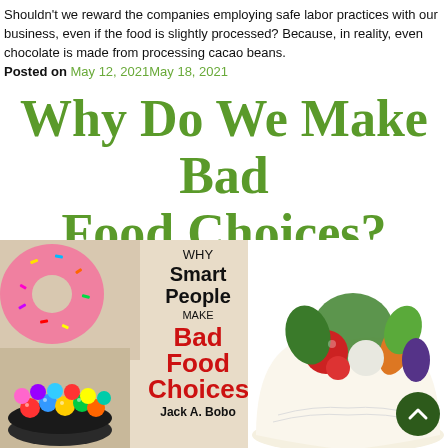Shouldn't we reward the companies employing safe labor practices with our business, even if the food is slightly processed? Because, in reality, even chocolate is made from processing cacao beans.
Posted on May 12, 2021May 18, 2021
Why Do We Make Bad Food Choices?
[Figure (illustration): Composite image: left side shows book cover 'Why Smart People Make Bad Food Choices by Jack A. Bobo' with donuts and candy bowl visible; right side shows an open book with fresh vegetables on top.]